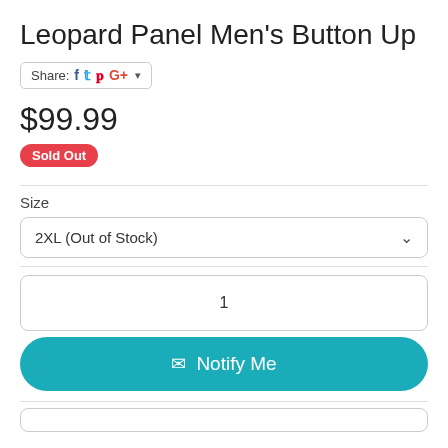Leopard Panel Men's Button Up
Share: [Facebook] [Twitter] [Pinterest] [Google+] ▾
$99.99
Sold Out
Size
2XL (Out of Stock)
1
✉ Notify Me